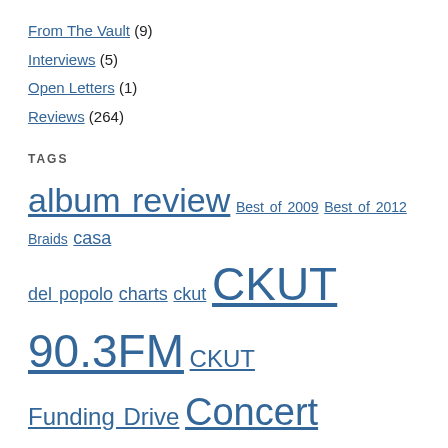From The Vault (9)
Interviews (5)
Open Letters (1)
Reviews (264)
TAGS
album review Best of 2009 Best of 2012 Braids casa del popolo charts ckut CKUT 90.3FM CKUT Funding Drive Concert Listings concert review Constellation Records electronic experimental fixture records Free Music Archive funding drive hip hop If You Got Ears interview Jazz live local artist Montreal montreal sessions mozarts sister music Mutek New Shit Nora Duffy Ought passovah Pop Montreal Review Show Review specialty charts Suoni Per il Popolo The Montreal Sessions top 30